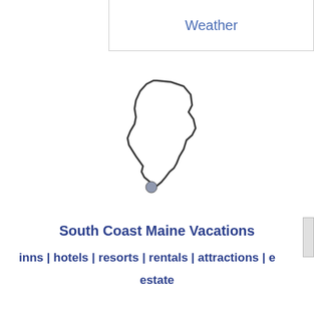Weather
[Figure (map): Outline map of the state of Maine with a small highlighted dot on the southern coast region]
South Coast Maine Vacations
inns | hotels | resorts | rentals | attractions | estate